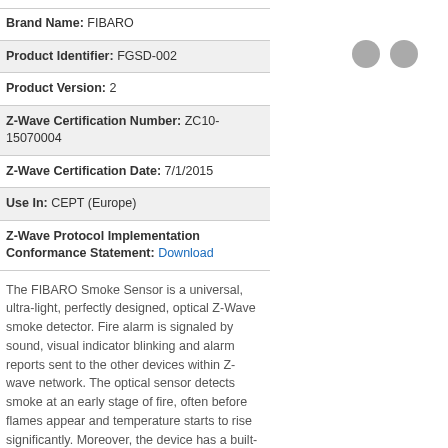Brand Name: FIBARO
Product Identifier: FGSD-002
Product Version: 2
Z-Wave Certification Number: ZC10-15070004
Z-Wave Certification Date: 7/1/2015
Use In: CEPT (Europe)
Z-Wave Protocol Implementation Conformance Statement: Download
[Figure (other): Two grey circles side by side]
The FIBARO Smoke Sensor is a universal, ultra-light, perfectly designed, optical Z-Wave smoke detector. Fire alarm is signaled by sound, visual indicator blinking and alarm reports sent to the other devices within Z-wave network. The optical sensor detects smoke at an early stage of fire, often before flames appear and temperature starts to rise significantly. Moreover, the device has a built-in temperature sensor, which is adjustable to allow detection of fire by exceeding given temperature threshold. The FIBARO Smoke Sensor is a battery powered device designed to be placed on the wall or ceiling. Visual indicator signals fire, operating mode and it is